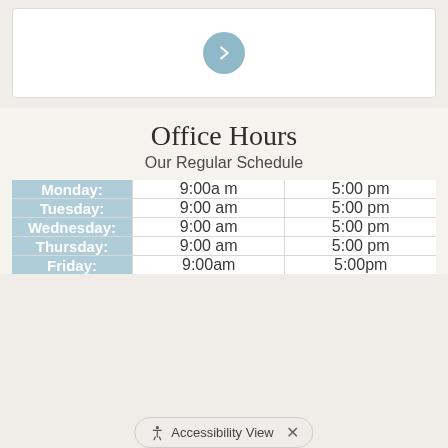[Figure (other): White card with a teal circular arrow/next button icon]
Office Hours
Our Regular Schedule
| Day | Open | Close |
| --- | --- | --- |
| Monday: | 9:00a m | 5:00 pm |
| Tuesday: | 9:00 am | 5:00 pm |
| Wednesday: | 9:00 am | 5:00 pm |
| Thursday: | 9:00 am | 5:00 pm |
| Friday: | 9:00am | 5:00pm |
Accessibility View